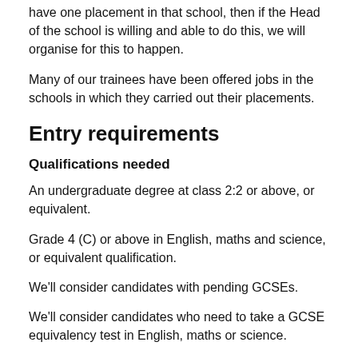have one placement in that school, then if the Head of the school is willing and able to do this, we will organise for this to happen.
Many of our trainees have been offered jobs in the schools in which they carried out their placements.
Entry requirements
Qualifications needed
An undergraduate degree at class 2:2 or above, or equivalent.
Grade 4 (C) or above in English, maths and science, or equivalent qualification.
We'll consider candidates with pending GCSEs.
We'll consider candidates who need to take a GCSE equivalency test in English, maths or science.
Personal qualities